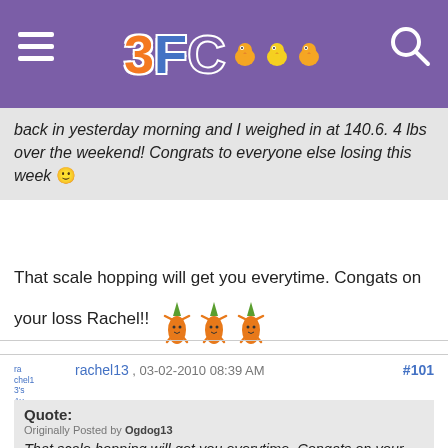3FC (logo with chicks)
back in yesterday morning and I weighed in at 140.6. 4 lbs over the weekend! Congrats to everyone else losing this week 🙂
That scale hopping will get you everytime. Congats on your loss Rachel!! [carrot emoji x3]
rachel13 , 03-02-2010 08:39 AM #101
Quote:
Originally Posted by Ogdog13
That scale hopping will get you everytime. Congats on your loss Rachel!! [carrot emoji x3]
Every time I read "scale hoping" on here, it makes me